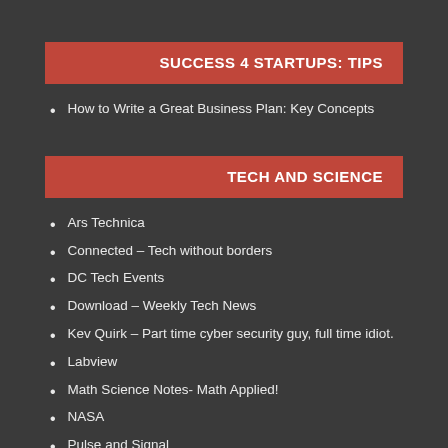SUCCESS 4 STARTUPS: TIPS
How to Write a Great Business Plan: Key Concepts
TECH AND SCIENCE
Ars Technica
Connected – Tech without borders
DC Tech Events
Download – Weekly Tech News
Kev Quirk – Part time cyber security guy, full time idiot.
Labview
Math Science Notes- Math Applied!
NASA
Pulse and Signal
Query – There are no wrong questions
Riddles In The Sky
Rocket Shop/Copenhagen Suborbitals
The iPhone Rocket: How An iPhone Hit 1300ft